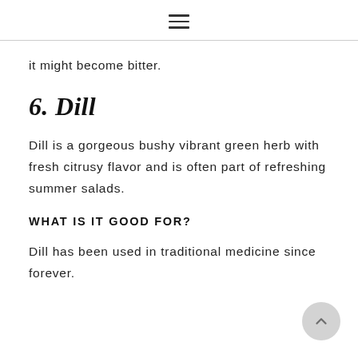≡
it might become bitter.
6. Dill
Dill is a gorgeous bushy vibrant green herb with fresh citrusy flavor and is often part of refreshing summer salads.
WHAT IS IT GOOD FOR?
Dill has been used in traditional medicine since forever.